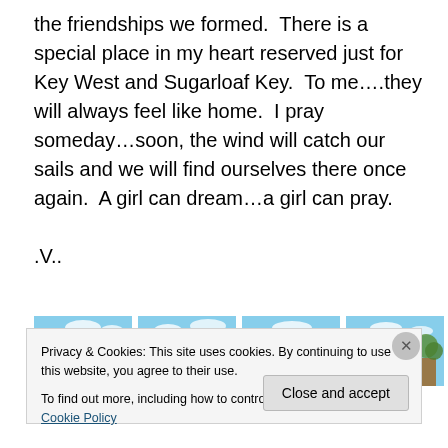the friendships we formed.  There is a special place in my heart reserved just for Key West and Sugarloaf Key.  To me….they will always feel like home.  I pray someday…soon, the wind will catch our sails and we will find ourselves there once again.  A girl can dream…a girl can pray.

.V..
[Figure (photo): Four photographs showing coastal/road scenes near Key West and Sugarloaf Key: a straight road, water views, and a building with palm trees.]
Privacy & Cookies: This site uses cookies. By continuing to use this website, you agree to their use.
To find out more, including how to control cookies, see here: Cookie Policy
Close and accept